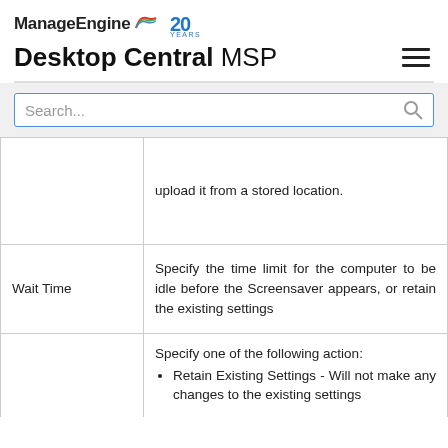ManageEngine 20 YEARS — Desktop Central MSP
| Setting | Description |
| --- | --- |
|  | upload it from a stored location. |
| Wait Time | Specify the time limit for the computer to be idle before the Screensaver appears, or retain the existing settings |
|  | Specify one of the following action:
• Retain Existing Settings - Will not make any changes to the existing settings
• Screen saver will... |